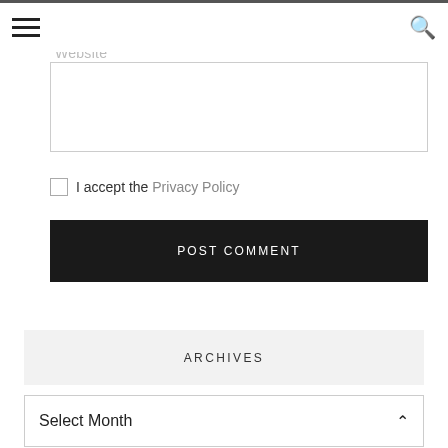☰  Website  🔍
Website (input field placeholder)
I accept the Privacy Policy
POST COMMENT
ARCHIVES
Select Month